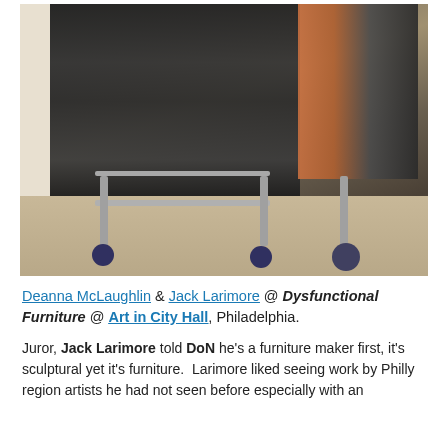[Figure (photo): A shopping cart loaded with dark flat items (drawer fronts or flat panels) stacked horizontally, and a rolled textile or wrapped item on the side, sitting on a carpeted floor near a white baseboard wall.]
Deanna McLaughlin & Jack Larimore @ Dysfunctional Furniture @ Art in City Hall, Philadelphia.
Juror, Jack Larimore told DoN he's a furniture maker first, it's sculptural yet it's furniture.  Larimore liked seeing work by Philly region artists he had not seen before especially with an